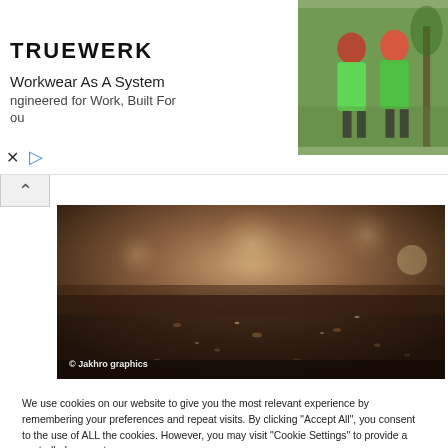[Figure (screenshot): Advertisement banner for TRUEWERK workwear showing two workers in bright green jackets and helmets. Text reads 'Workwear As A System / ngineered for Work, Built For ou' with the TRUEWERK logo.]
[Figure (photo): Close-up macro photograph of muddy/wet ground surface with bokeh background. Copyright watermark reads '© Jakhro graphics'.]
We use cookies on our website to give you the most relevant experience by remembering your preferences and repeat visits. By clicking "Accept All", you consent to the use of ALL the cookies. However, you may visit "Cookie Settings" to provide a controlled consent.
Cookie Settings | Accept All